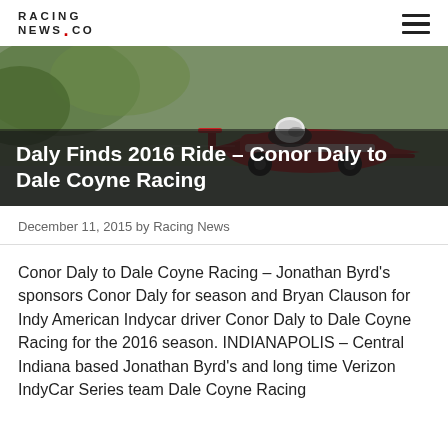RACING NEWS.CO
[Figure (photo): Racing car on track with driver in helmet, hero image for article about Conor Daly joining Dale Coyne Racing]
Daly Finds 2016 Ride – Conor Daly to Dale Coyne Racing
December 11, 2015 by Racing News
Conor Daly to Dale Coyne Racing – Jonathan Byrd's sponsors Conor Daly for season and Bryan Clauson for Indy American Indycar driver Conor Daly to Dale Coyne Racing for the 2016 season. INDIANAPOLIS – Central Indiana based Jonathan Byrd's and long time Verizon IndyCar Series team Dale Coyne Racing